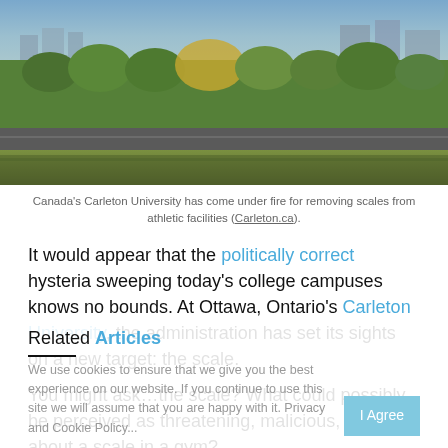[Figure (photo): Aerial/elevated view of Carleton University campus with trees and buildings]
Canada’s Carleton University has come under fire for removing scales from athletic facilities (Carleton.ca).
It would appear that the politically correct hysteria sweeping today’s college campuses knows no bounds. At Ottawa, Ontario’s Carleton University, the administration has set its sights on a new target: the scale.
You might ask…the scale? What could possibly be perceived as threatening, malicious, or unjust about a scale in a gym?
Related Articles
We use cookies to ensure that we give you the best experience on our website. If you continue to use this site we will assume that you are happy with it. Privacy and Cookie Policy.